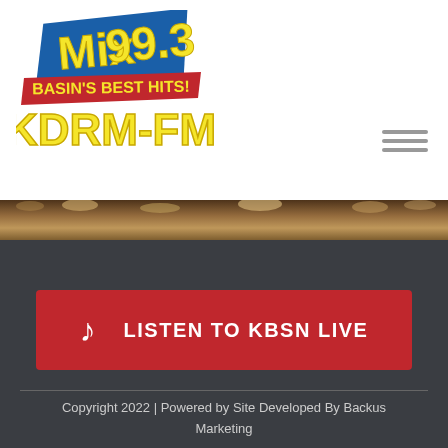[Figure (logo): Mix 99.3 Basin's Best Hits! KDRM-FM radio station logo with yellow and red stylized text on blue background]
[Figure (photo): Wheat field photo strip banner]
LISTEN TO KBSN LIVE
Copyright 2022 | Powered by Site Developed By Backus Marketing